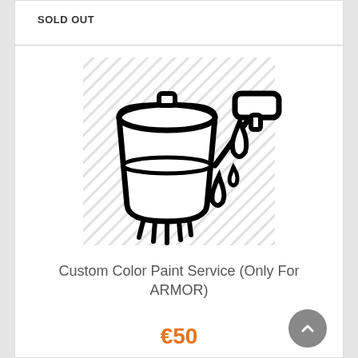SOLD OUT
[Figure (illustration): Paint bucket icon with paint roller and paint drips, black outline on white background with diagonal stripe pattern]
Custom Color Paint Service (Only For ARMOR)
€50